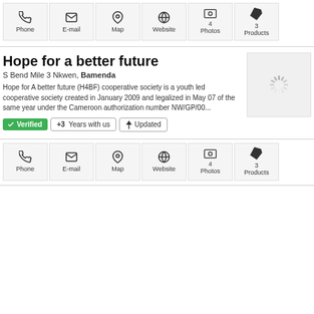[Figure (screenshot): Top icon bar with Phone, E-mail, Map, Website, Photos (4), Products (3) buttons]
Hope for a better future
S Bend Mile 3 Nkwen, Bamenda
Hope for A better future (H4BF) cooperative society is a youth led cooperative society created in January 2009 and legalized in May 07 of the same year under the Cameroon authorization number NW/GP/00...
Verified  +3 Years with us  Updated
[Figure (screenshot): Bottom icon bar with Phone, E-mail, Map, Website, Photos (4), Products (3) buttons]